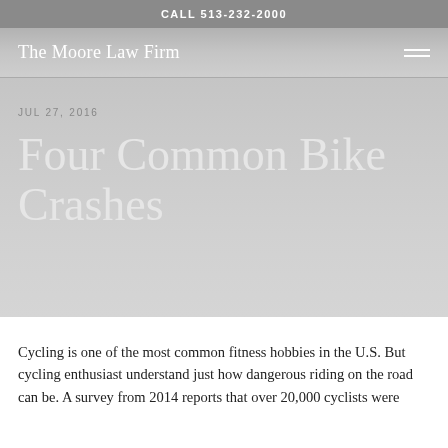CALL 513-232-2000
The Moore Law Firm
JUL 27, 2016
Four Common Bike Crashes
Cycling is one of the most common fitness hobbies in the U.S. But cycling enthusiast understand just how dangerous riding on the road can be. A survey from 2014 reports that over 20,000 cyclists were